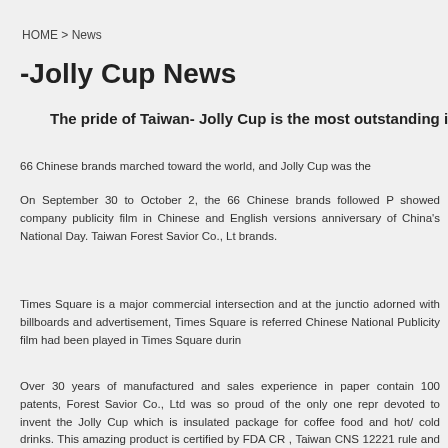HOME > News
-Jolly Cup News
The pride of Taiwan- Jolly Cup is the most outstanding i
66 Chinese brands marched toward the world, and Jolly Cup was the
On September 30 to October 2, the 66 Chinese brands followed P showed company publicity film in Chinese and English versions anniversary of China's National Day. Taiwan Forest Savior Co., Lt brands.
Times Square is a major commercial intersection and at the junctio adorned with billboards and advertisement, Times Square is referred Chinese National Publicity film had been played in Times Square durin
Over 30 years of manufactured and sales experience in paper contain 100 patents, Forest Savior Co., Ltd was so proud of the only one repr devoted to invent the Jolly Cup which is insulated package for coffee food and hot/ cold drinks. This amazing product is certified by FDA CR , Taiwan CNS 12221 rule and plastic-release test of DBP & DEHP and